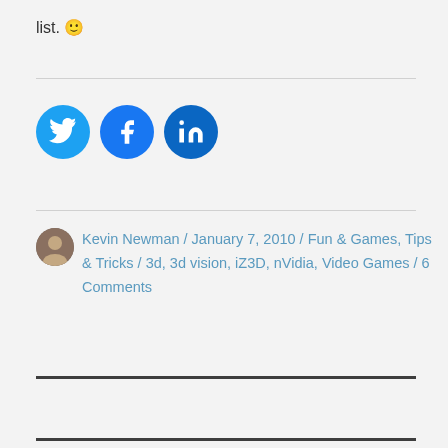list. 🙂
[Figure (other): Social share buttons: Twitter, Facebook, LinkedIn circles]
Kevin Newman / January 7, 2010 / Fun & Games, Tips & Tricks / 3d, 3d vision, iZ3D, nVidia, Video Games / 6 Comments